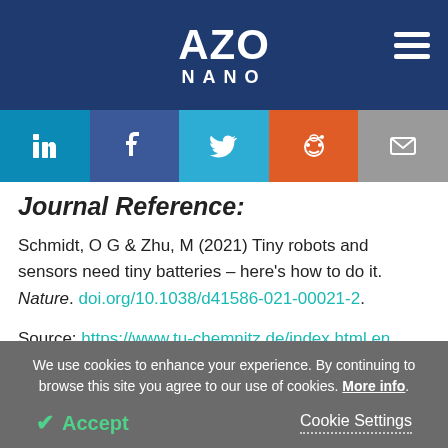AZO NANO
Journal Reference:
Schmidt, O G & Zhu, M (2021) Tiny robots and sensors need tiny batteries – here's how to do it. Nature. doi.org/10.1038/d41586-021-00021-2.
Source: https://www.tu-chemnitz.de/index.html.en
We use cookies to enhance your experience. By continuing to browse this site you agree to our use of cookies. More info.